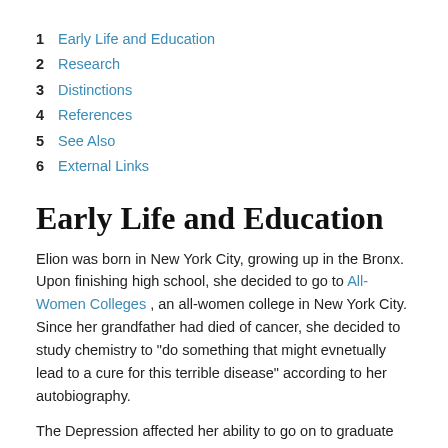1 Early Life and Education
2 Research
3 Distinctions
4 References
5 See Also
6 External Links
Early Life and Education
Elion was born in New York City, growing up in the Bronx. Upon finishing high school, she decided to go to All-Women Colleges , an all-women college in New York City. Since her grandfather had died of cancer, she decided to study chemistry to “do something that might evnetually lead to a cure for this terrible disease” according to her autobiography.
The Depression affected her ability to go on to graduate school so Elion decided instead to work for a chemist as a laboratory assistant, making $20 a week. With this